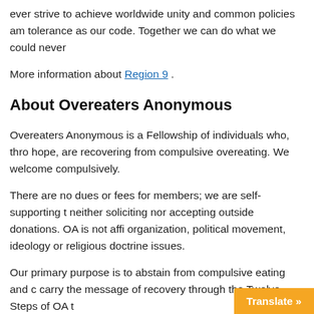ever strive to achieve worldwide unity and common policies am tolerance as our code. Together we can do what we could never
More information about Region 9 .
About Overeaters Anonymous
Overeaters Anonymous is a Fellowship of individuals who, thro hope, are recovering from compulsive overeating. We welcome compulsively.
There are no dues or fees for members; we are self-supporting t neither soliciting nor accepting outside donations. OA is not affi organization, political movement, ideology or religious doctrine issues.
Our primary purpose is to abstain from compulsive eating and c carry the message of recovery through the Twelve Steps of OA t